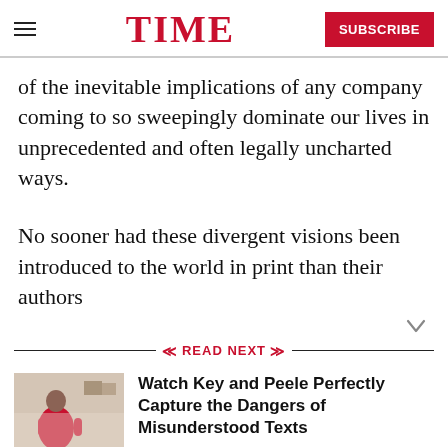TIME | SUBSCRIBE
of the inevitable implications of any company coming to so sweepingly dominate our lives in unprecedented and often legally uncharted ways.
No sooner had these divergent visions been introduced to the world in print than their authors
READ NEXT
[Figure (photo): Thumbnail image of a person in a red outfit in a room]
Watch Key and Peele Perfectly Capture the Dangers of Misunderstood Texts